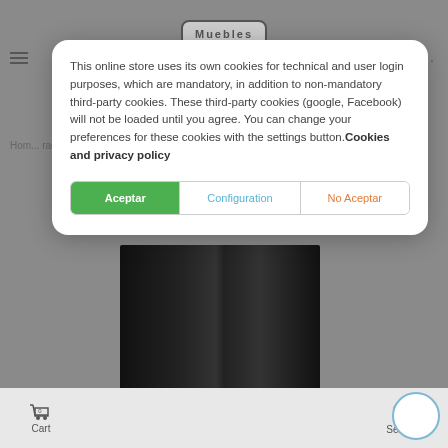[Figure (screenshot): Website background showing a furniture store (Muebles) with a dimmed overlay, hamburger menu, logo, breadcrumb navigation, and a dark product image of a rack/shelf unit]
This online store uses its own cookies for technical and user login purposes, which are mandatory, in addition to non-mandatory third-party cookies. These third-party cookies (google, Facebook) will not be loaded until you agree. You can change your preferences for these cookies with the settings button. Cookies and privacy policy
Aceptar
Configuration
No Aceptar